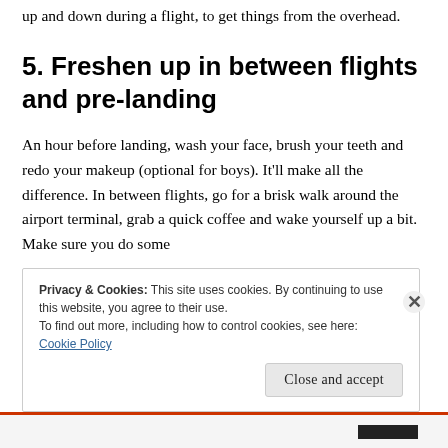up and down during a flight, to get things from the overhead.
5. Freshen up in between flights and pre-landing
An hour before landing, wash your face, brush your teeth and redo your makeup (optional for boys). It'll make all the difference. In between flights, go for a brisk walk around the airport terminal, grab a quick coffee and wake yourself up a bit. Make sure you do some
Privacy & Cookies: This site uses cookies. By continuing to use this website, you agree to their use.
To find out more, including how to control cookies, see here:
Cookie Policy
Close and accept